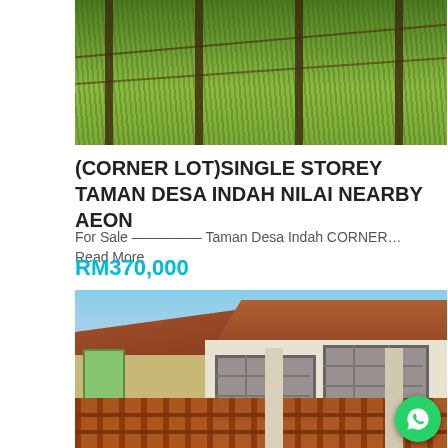[Figure (photo): Overgrown grassy area with fence posts and wires — outdoor lot photo]
(CORNER LOT)SINGLE STOREY TAMAN DESA INDAH NILAI NEARBY AEON
For Sale ————— Taman Desa Indah CORNER… Read More
RM370,000
[Figure (photo): Single storey corner lot terrace house with orange/brown iron gate, tiled roof, and green front door — Taman Desa Indah, Nilai]